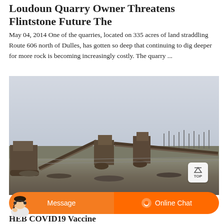Loudoun Quarry Owner Threatens Flintstone Future The
May 04, 2014 One of the quarries, located on 335 acres of land straddling Route 606 north of Dulles, has gotten so deep that continuing to dig deeper for more rock is becoming increasingly costly. The quarry ...
[Figure (photo): Photograph of quarry machinery and industrial equipment at a quarry site with a grey overcast sky]
HEB COVID19 Vaccine